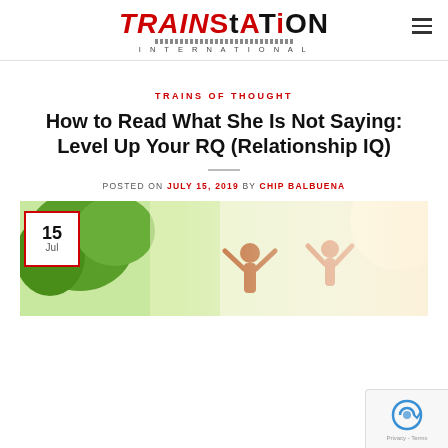TRAINSTATION INTERNATIONAL
TRAINS OF THOUGHT
How to Read What She Is Not Saying: Level Up Your RQ (Relationship IQ)
POSTED ON JULY 15, 2019 BY CHIP BALBUENA
[Figure (photo): People outdoors with arms raised, green trees in background, joyful scene]